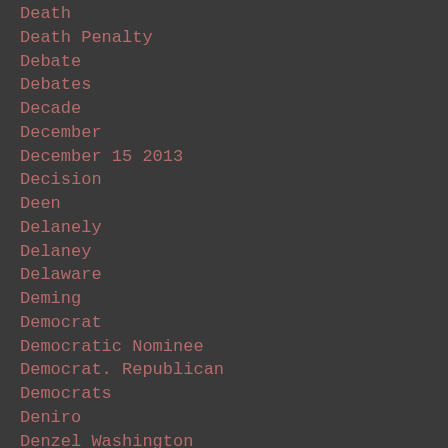Death
Death Penalty
Debate
Debates
Decade
December
December 15 2013
Decision
Deen
Delanely
Delaney
Delaware
Deming
Democrat
Democratic Nominee
Democrat. Republican
Democrats
Deniro
Denzel Washington
Department Of Justice
Derek Chauvin